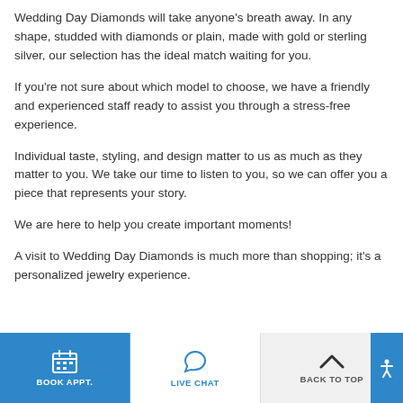Wedding Day Diamonds will take anyone's breath away. In any shape, studded with diamonds or plain, made with gold or sterling silver, our selection has the ideal match waiting for you.
If you're not sure about which model to choose, we have a friendly and experienced staff ready to assist you through a stress-free experience.
Individual taste, styling, and design matter to us as much as they matter to you. We take our time to listen to you, so we can offer you a piece that represents your story.
We are here to help you create important moments!
A visit to Wedding Day Diamonds is much more than shopping; it's a personalized jewelry experience.
BOOK APPT.   LIVE CHAT   BACK TO TOP